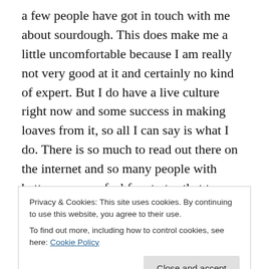a few people have got in touch with me about sourdough. This does make me a little uncomfortable because I am really not very good at it and certainly no kind of expert. But I do have a live culture right now and some success in making loaves from it, so all I can say is what I do. There is so much to read out there on the internet and so many people with better answers, feel free to try that too.
What I do is based on instructions from S John Ross, but the home of that on the internet has changed a couple of times.  Here's a version I found recently, but it's less than
Privacy & Cookies: This site uses cookies. By continuing to use this website, you agree to their use.
To find out more, including how to control cookies, see here: Cookie Policy
so can you. It's not going to be as beautiful as some of the